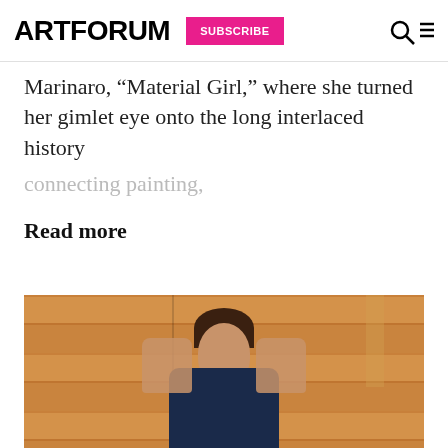ARTFORUM | SUBSCRIBE
Marinaro, “Material Girl,” where she turned her gimlet eye onto the long interlaced history connecting painting,
Read more
[Figure (photo): Person sitting against a wood-paneled wall with both hands raised, palms facing outward toward the camera]